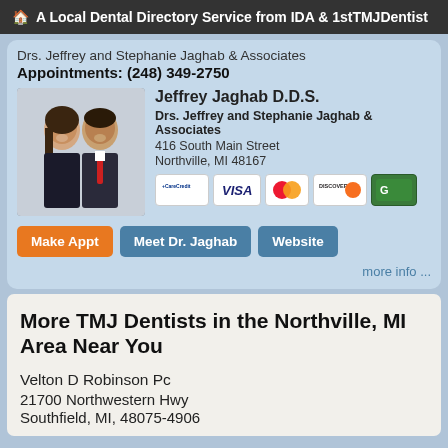A Local Dental Directory Service from IDA & 1stTMJDentist
Drs. Jeffrey and Stephanie Jaghab & Associates
Appointments: (248) 349-2750
[Figure (photo): Photo of two doctors, a woman and a man in professional attire]
Jeffrey Jaghab D.D.S.
Drs. Jeffrey and Stephanie Jaghab & Associates
416 South Main Street
Northville, MI 48167
[Figure (other): Payment method icons: CareCredit, Visa, MasterCard, Discover, Green card]
Make Appt   Meet Dr. Jaghab   Website
more info ...
More TMJ Dentists in the Northville, MI Area Near You
Velton D Robinson Pc
21700 Northwestern Hwy
Soutfield, MI, 48075-4906